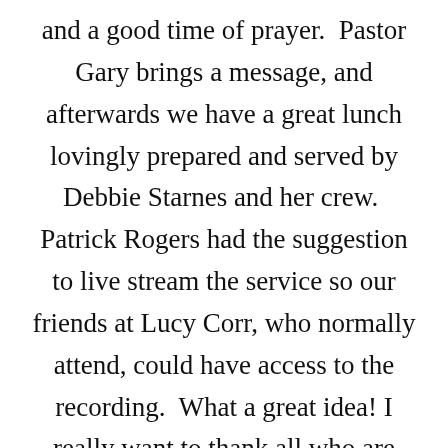and a good time of prayer.  Pastor Gary brings a message, and afterwards we have a great lunch lovingly prepared and served by Debbie Starnes and her crew.  Patrick Rogers had the suggestion to live stream the service so our friends at Lucy Corr, who normally attend, could have access to the recording.  What a great idea! I really want to thank all who are involved in this effort.  We meet monthly, so if you are interested, just get in touch with Debbie Starnes, 804-751-9065, so we can prepare for the right